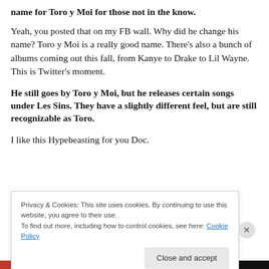name for Toro y Moi for those not in the know.
Yeah, you posted that on my FB wall. Why did he change his name? Toro y Moi is a really good name. There's also a bunch of albums coming out this fall, from Kanye to Drake to Lil Wayne. This is Twitter's moment.
He still goes by Toro y Moi, but he releases certain songs under Les Sins. They have a slightly different feel, but are still recognizable as Toro.
I like this Hypebeasting for you Doc.
Privacy & Cookies: This site uses cookies. By continuing to use this website, you agree to their use.
To find out more, including how to control cookies, see here: Cookie Policy